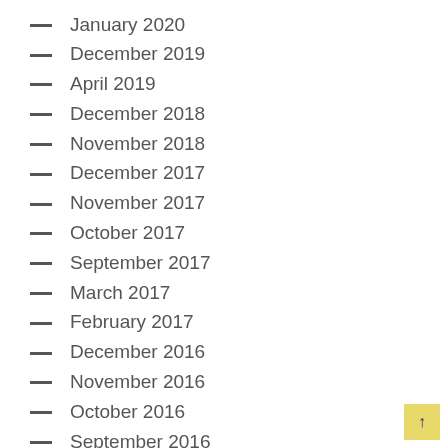January 2020
December 2019
April 2019
December 2018
November 2018
December 2017
November 2017
October 2017
September 2017
March 2017
February 2017
December 2016
November 2016
October 2016
September 2016
August 2016